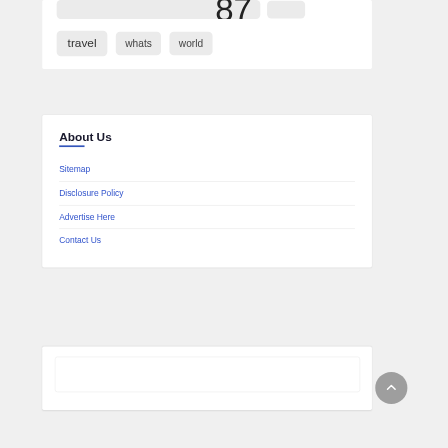[Figure (screenshot): Partial top section showing tag badges: travel, whats, world on a light gray background]
About Us
Sitemap
Disclosure Policy
Advertise Here
Contact Us
[Figure (screenshot): Partial bottom card with an empty inner white box, and a scroll-to-top circular button on the right]